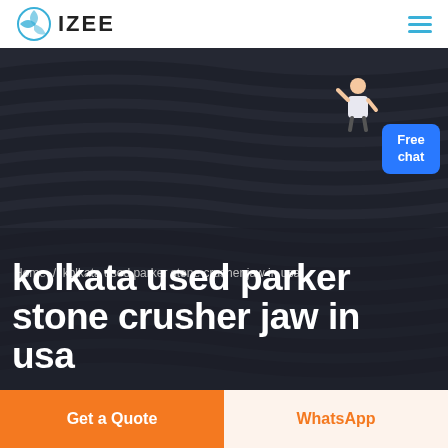[Figure (logo): IZEE company logo with teal/blue globe icon and bold IZEE text]
[Figure (screenshot): Dark industrial background showing abstract heavy machinery or crusher ribs in dark gray, overlaid with breadcrumb navigation, large hero title, and a blue Free chat widget with a person figure]
Home / kolkata used parker stone crusher jaw in usa
kolkata used parker stone crusher jaw in usa
Get a Quote
WhatsApp